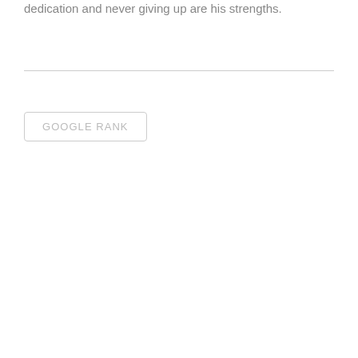dedication and never giving up are his strengths.
GOOGLE RANK